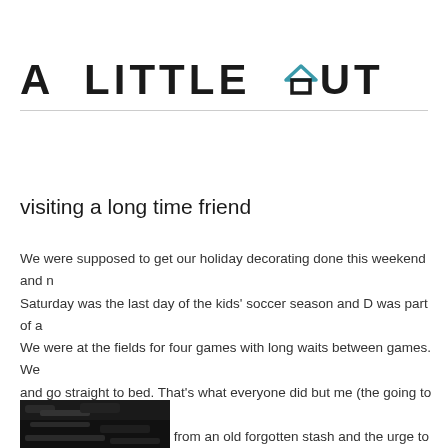A LITTLE HUT
visiting a long time friend
We were supposed to get our holiday decorating done this weekend and m Saturday was the last day of the kids' soccer season and D was part of a We were at the fields for four games with long waits between games. We and go straight to bed. That's what everyone did but me (the going to bed with a crochet hook, yarn from an old forgotten stash and the urge to crea something/anything. I ended up with this scarf.
[Figure (photo): Partial view of a dark/black knitted or crocheted scarf at the bottom of the page]